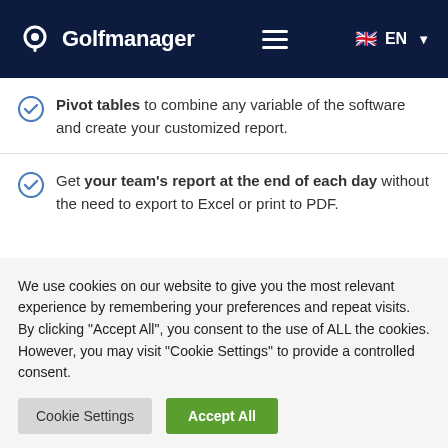Golfmanager — Navigation header with logo, hamburger menu, and EN language selector
Pivot tables to combine any variable of the software and create your customized report.
Get your team's report at the end of each day without the need to export to Excel or print to PDF.
We use cookies on our website to give you the most relevant experience by remembering your preferences and repeat visits. By clicking "Accept All", you consent to the use of ALL the cookies. However, you may visit "Cookie Settings" to provide a controlled consent.